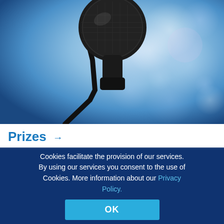[Figure (photo): Close-up photo of a microphone against a blue bokeh background, with soft circular light spots]
Prizes →
Cookies facilitate the provision of our services. By using our services you consent to the use of Cookies. More information about our Privacy Policy.
OK